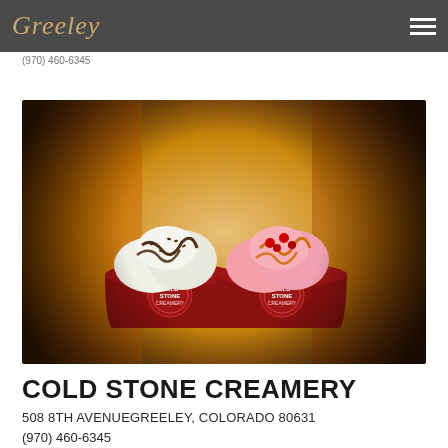Greeley
(970) 460-6345
[Figure (photo): Two red Cold Stone Creamery cups filled with ice cream sundaes with chocolate and caramel toppings, set against a blurred menu board background with dark vignette edges]
COLD STONE CREAMERY
508 8TH AVENUEGREELEY, COLORADO 80631
(970) 460-6345